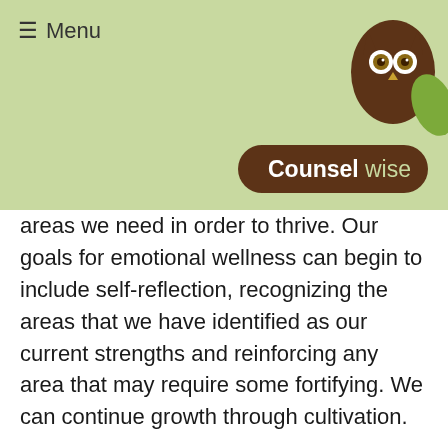≡ Menu
[Figure (logo): Counselwise logo with owl illustration and brown pill-shaped background with green leaf]
areas we need in order to thrive. Our goals for emotional wellness can begin to include self-reflection, recognizing the areas that we have identified as our current strengths and reinforcing any area that may require some fortifying. We can continue growth through cultivation.
To visit the Canadian Mental Health Association website: https://cmha.ca/
Photo credit: http://Photo by Ben Duchac on Unsplash